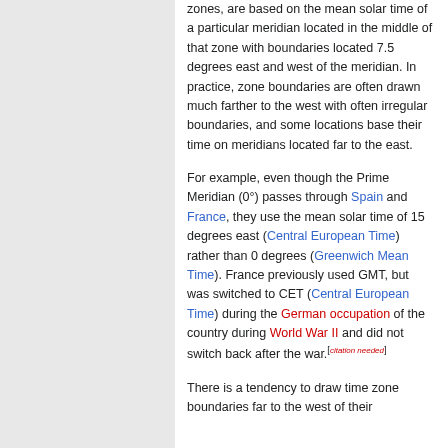zones, are based on the mean solar time of a particular meridian located in the middle of that zone with boundaries located 7.5 degrees east and west of the meridian. In practice, zone boundaries are often drawn much farther to the west with often irregular boundaries, and some locations base their time on meridians located far to the east.
For example, even though the Prime Meridian (0°) passes through Spain and France, they use the mean solar time of 15 degrees east (Central European Time) rather than 0 degrees (Greenwich Mean Time). France previously used GMT, but was switched to CET (Central European Time) during the German occupation of the country during World War II and did not switch back after the war.[citation needed]
There is a tendency to draw time zone boundaries far to the west of their